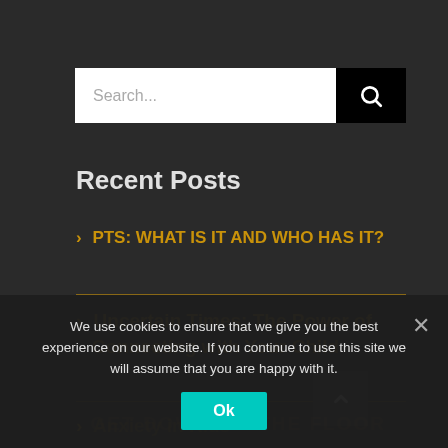[Figure (screenshot): Search bar with white input field and black search button with magnifying glass icon]
Recent Posts
> PTS: WHAT IS IT AND WHO HAS IT?
> Uncertain Times: The Power of Connecting with Your Child
> GET DOWN ON THE FLOOR (faded/watermark)
> Anxiety in Kids
We use cookies to ensure that we give you the best experience on our website. If you continue to use this site we will assume that you are happy with it.